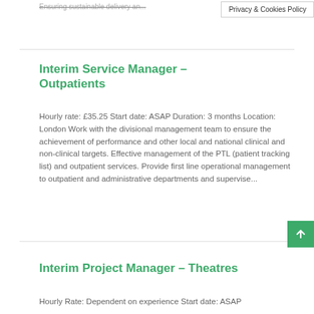Ensuring sustainable delivery an...
Privacy & Cookies Policy
Interim Service Manager – Outpatients
Hourly rate: £35.25 Start date: ASAP Duration: 3 months Location: London Work with the divisional management team to ensure the achievement of performance and other local and national clinical and non-clinical targets. Effective management of the PTL (patient tracking list) and outpatient services. Provide first line operational management to outpatient and administrative departments and supervise...
Interim Project Manager – Theatres
Hourly Rate: Dependent on experience Start date: ASAP